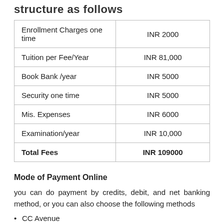structure as follows
|  |  |
| --- | --- |
| Enrollment Charges one time | INR 2000 |
| Tuition per Fee/Year | INR 81,000 |
| Book Bank /year | INR 5000 |
| Security one time | INR 5000 |
| Mis. Expenses | INR 6000 |
| Examination/year | INR 10,000 |
| Total Fees | INR 109000 |
Mode of Payment Online
you can do payment by credits, debit, and net banking method, or you can also choose the following methods
CC Avenue